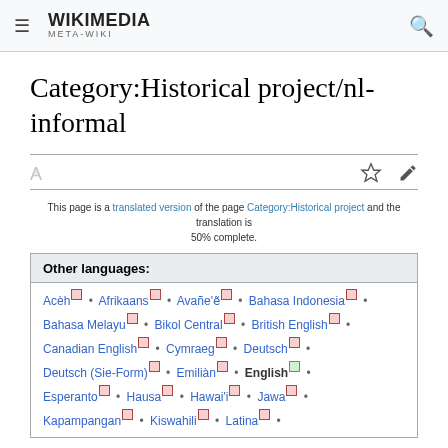Wikimedia Meta-Wiki
Category:Historical project/nl-informal
This page is a translated version of the page Category:Historical project and the translation is 50% complete.
Other languages:
Acèh • Afrikaans • Avañe'ẽ • Bahasa Indonesia • Bahasa Melayu • Bikol Central • British English • Canadian English • Cymraeg • Deutsch • Deutsch (Sie-Form) • Emiliàn • English • Esperanto • Hausa • Hawai'i • Jawa • Kapampangan • Kiswahili • Latina